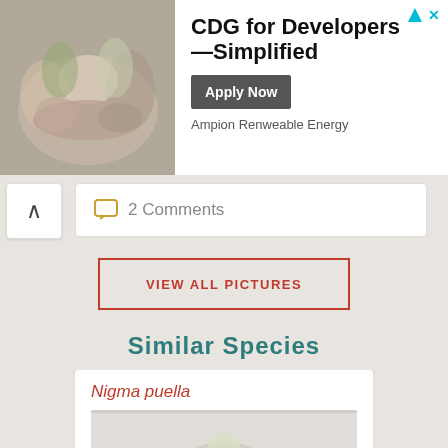[Figure (photo): Advertisement banner showing people joining hands in a circle, with text 'CDG for Developers —Simplified', company name 'Ampion Renweable Energy', and an 'Apply Now' button]
2 Comments
VIEW ALL PICTURES
Similar Species
Nigma puella
[Figure (photo): Partial photo of Nigma puella species]